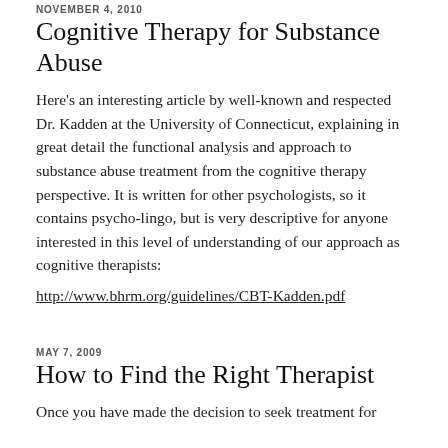NOVEMBER 4, 2010
Cognitive Therapy for Substance Abuse
Here's an interesting article by well-known and respected Dr. Kadden at the University of Connecticut, explaining in great detail the functional analysis and approach to substance abuse treatment from the cognitive therapy perspective. It is written for other psychologists, so it contains psycho-lingo, but is very descriptive for anyone interested in this level of understanding of our approach as cognitive therapists:
http://www.bhrm.org/guidelines/CBT-Kadden.pdf
MAY 7, 2009
How to Find the Right Therapist
Once you have made the decision to seek treatment for